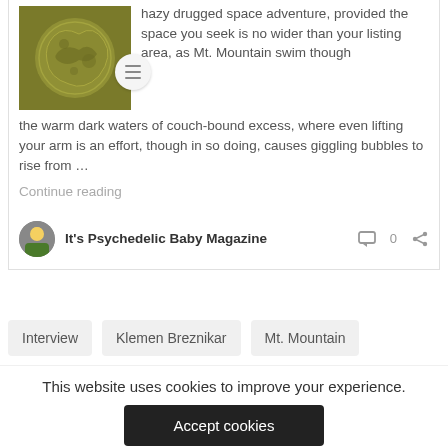hazy drugged space adventure, provided the space you seek is no wider than your listing area, as Mt. Mountain swim though the warm dark waters of couch-bound excess, where even lifting your arm is an effort, though in so doing, causes giggling bubbles to rise from …
Continue reading
It's Psychedelic Baby Magazine  0
Interview
Klemen Breznikar
Mt. Mountain
This website uses cookies to improve your experience.
Accept cookies